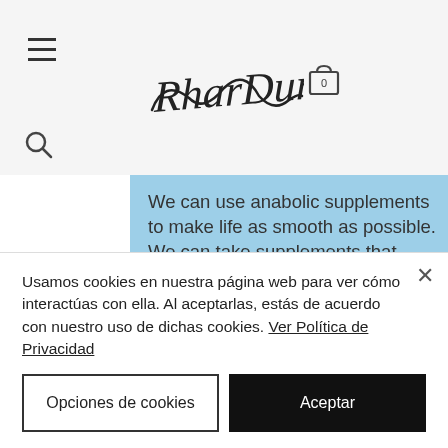[Figure (screenshot): Website navigation bar with hamburger menu, cursive logo signature, shopping cart icon (showing 0 items), and search icon]
We can use anabolic supplements to make life as smooth as possible. We can take supplements that actually work to strengthen our muscles, our brains, our minds, and our bodies. These supplements will also help us retain our lives and our minds as we age, nandrolone decanoate 250mg/ml. That doesn't mean that you will lose your youth, but you will be able to maintain your fitness,
Usamos cookies en nuestra página web para ver cómo interactúas con ella. Al aceptarlas, estás de acuerdo con nuestro uso de dichas cookies. Ver Política de Privacidad
Opciones de cookies
Aceptar